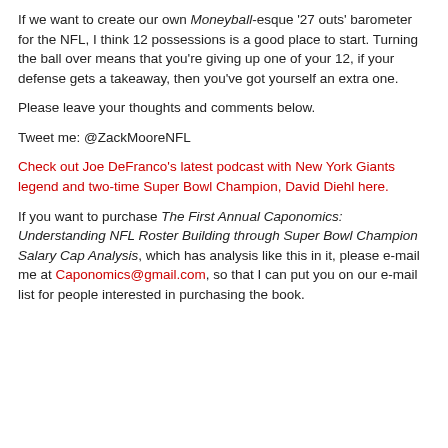If we want to create our own Moneyball-esque '27 outs' barometer for the NFL, I think 12 possessions is a good place to start. Turning the ball over means that you're giving up one of your 12, if your defense gets a takeaway, then you've got yourself an extra one.
Please leave your thoughts and comments below.
Tweet me: @ZackMooreNFL
Check out Joe DeFranco's latest podcast with New York Giants legend and two-time Super Bowl Champion, David Diehl here.
If you want to purchase The First Annual Caponomics: Understanding NFL Roster Building through Super Bowl Champion Salary Cap Analysis, which has analysis like this in it, please e-mail me at Caponomics@gmail.com, so that I can put you on our e-mail list for people interested in purchasing the book.